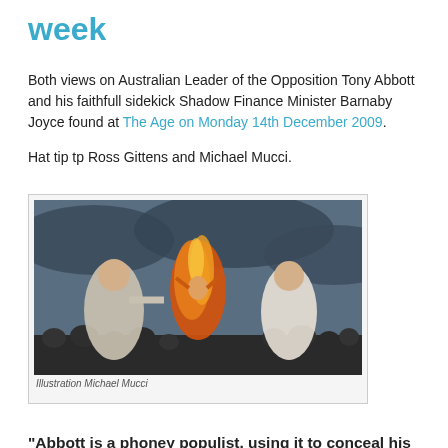week
Both views on Australian Leader of the Opposition Tony Abbott and his faithfull sidekick Shadow Finance Minister Barnaby Joyce found at The Age on Monday 14th December 2009.
Hat tip tp Ross Gittens and Michael Mucci.
[Figure (illustration): Caricature illustration by Michael Mucci showing Tony Abbott and Barnaby Joyce in a dramatic painted style with fire and crowd.]
Illustration Michael Mucci
"Abbott is a phoney populist, using it to conceal his convictions; Joyce is a genuine populist, being as unthinking as the crowd he wants to charm." Ross Gitte...